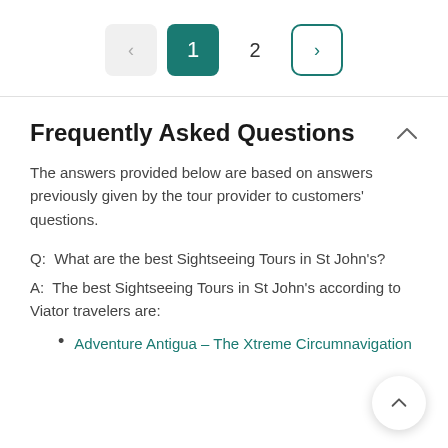[Figure (other): Pagination control with previous arrow (disabled), active page 1 (teal), page 2, and next arrow button with teal border]
Frequently Asked Questions
The answers provided below are based on answers previously given by the tour provider to customers' questions.
Q:  What are the best Sightseeing Tours in St John's?
A:  The best Sightseeing Tours in St John's according to Viator travelers are:
Adventure Antigua - The Xtreme Circumnavigation